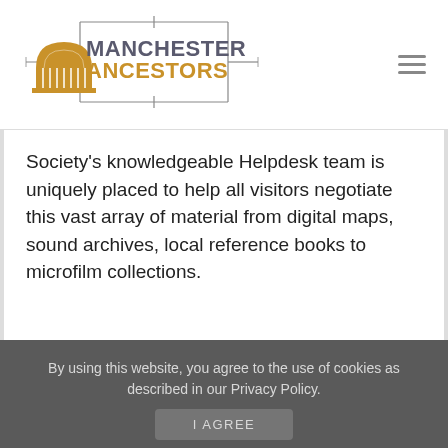[Figure (logo): Manchester Ancestors logo with golden domed building icon, decorative rectangular frame lines, and text 'MANCHESTER ANCESTORS' in grey and gold]
Society's knowledgeable Helpdesk team is uniquely placed to help all visitors negotiate this vast array of material from digital maps, sound archives, local reference books to microfilm collections.
By using this website, you agree to the use of cookies as described in our Privacy Policy.
I AGREE